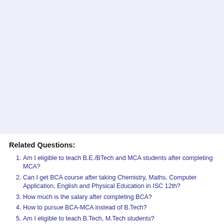[Figure (other): Large blank light blue-lavender background area occupying the top portion of the page]
Related Questions:
Am I eligible to teach B.E./BTech and MCA students after completing MCA?
Can I get BCA course after taking Chemistry, Maths, Computer Application, English and Physical Education in ISC 12th?
How much is the salary after completing BCA?
How to pursue BCA-MCA instead of B.Tech?
Am I eligible to teach B.Tech, M.Tech students?